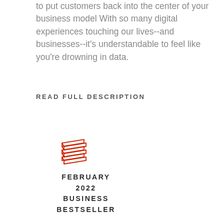to put customers back into the center of your business model With so many digital experiences touching our lives--and businesses--it's understandable to feel like you're drowning in data.
READ FULL DESCRIPTION
[Figure (illustration): Red line-art icon of a stack of books/pages]
FEBRUARY 2022 BUSINESS BESTSELLER
HARDCOVER